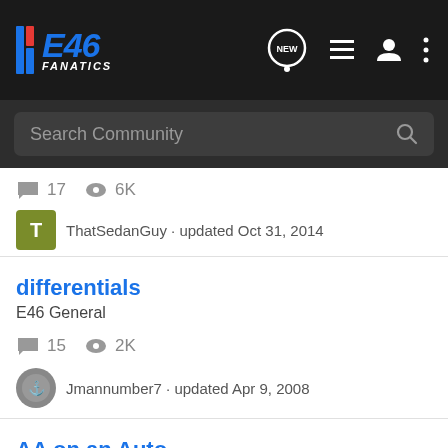E46 FANATICS — Navigation bar with logo, NEW, list, user, and menu icons
Search Community
17  6K
ThatSedanGuy · updated Oct 31, 2014
differentials
E46 General
15  2K
Jmannumber7 · updated Apr 9, 2008
AA on an Auto
Forced Induction
21  3K
JRoz · updated May 9, 2004